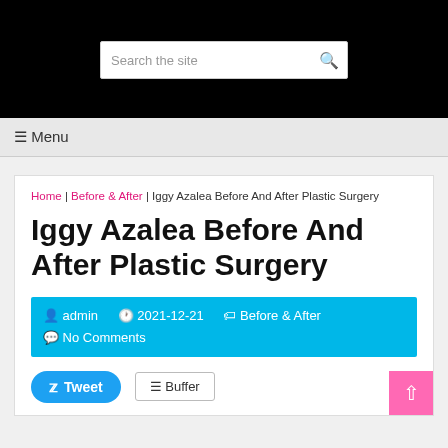Search the site
≡ Menu
Home | Before & After | Iggy Azalea Before And After Plastic Surgery
Iggy Azalea Before And After Plastic Surgery
admin  2021-12-21  Before & After  No Comments
Tweet  Buffer